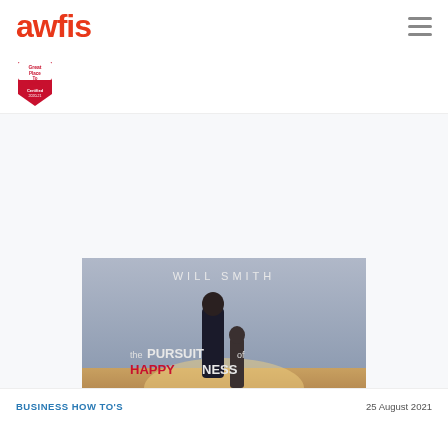awfis
[Figure (logo): Great Place To Work Certified badge]
[Figure (photo): Movie poster for 'The Pursuit of Happyness' featuring Will Smith and child, with text WILL SMITH and 'the PURSUIT of HAPPYNESS']
BUSINESS HOW TO'S
25 August 2021